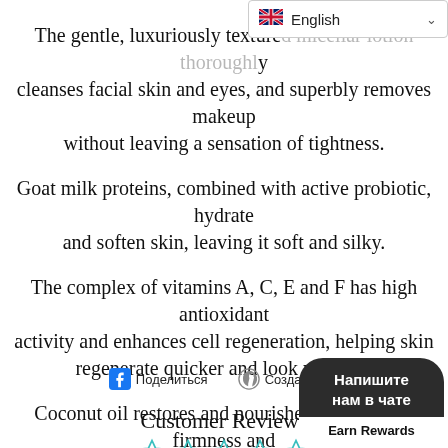[Figure (screenshot): English language selector dropdown bar in top right corner with UK flag icon and chevron]
The gentle, luxuriously textured micellar lotion thoroughly cleanses facial skin and eyes, and superbly removes makeup without leaving a sensation of tightness.
Goat milk proteins, combined with active probiotic, hydrate and soften skin, leaving it soft and silky.
The complex of vitamins A, C, E and F has high antioxidant activity and enhances cell regeneration, helping skin regenerate quicker and look younger.
Coconut oil restores and nourishes skin, adding firmness and elastic
[Figure (infographic): Facebook share button with icon and Cyrillic text Поделиться, and Pinterest pin button with icon and Cyrillic text Создать пин]
Customer Reviews
[Figure (other): Five empty star rating icons in teal/cyan outline]
[Figure (other): Dark chat bubble overlay with Cyrillic text Напишите нам в чате and Earn Rewards button]